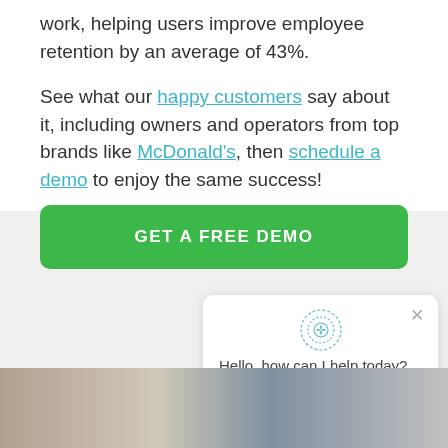work, helping users improve employee retention by an average of 43%.
See what our happy customers say about it, including owners and operators from top brands like McDonald's, then schedule a demo to enjoy the same success!
GET A FREE DEMO
[Figure (screenshot): Chat widget popup with decorative icon and message: Hello, how can I help today? with a close X button]
[Figure (photo): Photo strip showing people at a table, one with a plaid shirt, blurred background]